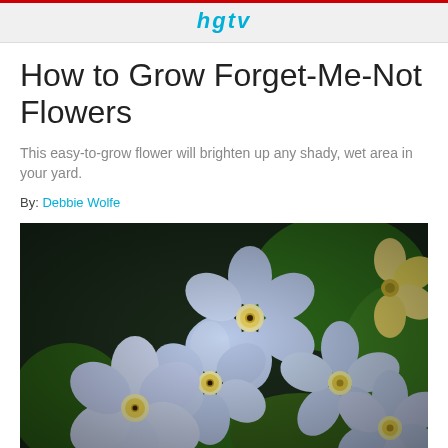hgtv
How to Grow Forget-Me-Not Flowers
This easy-to-grow flower will brighten up any shady, wet area in your yard.
By: Debbie Wolfe
[Figure (photo): Close-up photograph of light blue/lavender forget-me-not flowers with yellow centers against a green background]